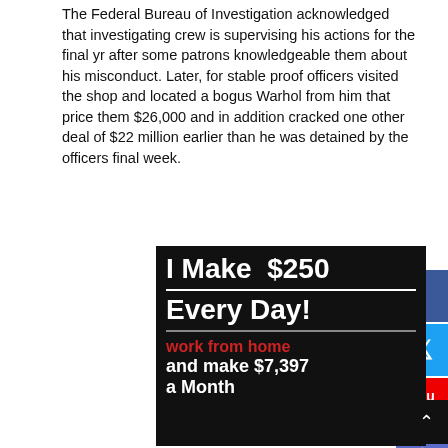The Federal Bureau of Investigation acknowledged that investigating crew is supervising his actions for the final yr after some patrons knowledgeable them about his misconduct. Later, for stable proof officers visited the shop and located a bogus Warhol from him that price them $26,000 and in addition cracked one other deal of $22 million earlier than he was detained by the officers final week.
[Figure (infographic): Advertisement banner on black background with text: 'I Make $250 Every Day! work from home and make $7,397 a Month', with image of smiling woman.]